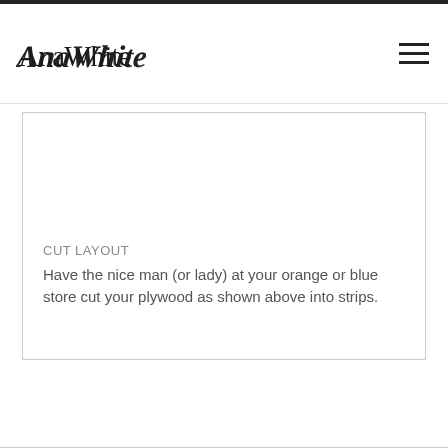AnaWhite
CUT LAYOUT
Have the nice man (or lady) at your orange or blue store cut your plywood as shown above into strips.